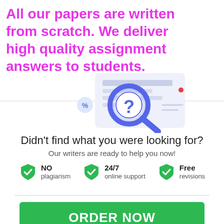All our papers are written from scratch. We deliver high quality assignment answers to students.
[Figure (illustration): Illustration showing a magnifying glass with a question mark, overlaying document/form graphics with a blue and light purple color scheme.]
Didn't find what you were looking for?
Our writers are ready to help you now!
NO plagiarism
24/7 online support
Free revisions
ORDER NOW